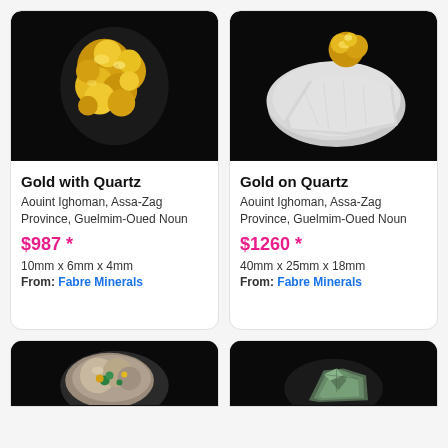[Figure (photo): Gold with Quartz mineral specimen on black background]
Gold with Quartz
Aouint Ighoman, Assa-Zag Province, Guelmim-Oued Noun
$987 *
10mm x 6mm x 4mm
From: Fabre Minerals
[Figure (photo): Gold on Quartz mineral specimen on black background]
Gold on Quartz
Aouint Ighoman, Assa-Zag Province, Guelmim-Oued Noun
$1260 *
40mm x 25mm x 18mm
From: Fabre Minerals
[Figure (photo): Partial view of a mineral specimen - bottom card left]
[Figure (photo): Partial view of a mineral specimen - bottom card right]